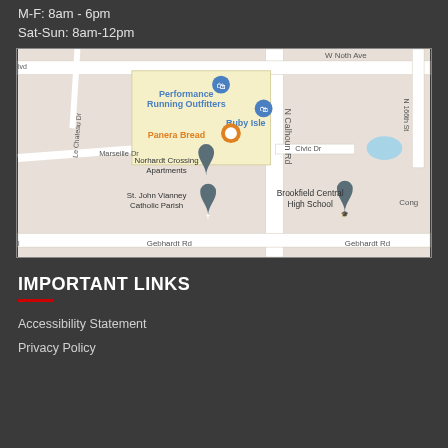M-F: 8am - 6pm
Sat-Sun: 8am-12pm
[Figure (map): Google Maps screenshot showing the area around Performance Running Outfitters and Ruby Isle, with landmarks including Panera Bread, Norhardt Crossing Apartments, St. John Vianney Catholic Parish, and Brookfield Central High School. Roads shown include N Calhoun Rd, W North Ave, Gebhardt Rd, Marseille Dr, and Civic Dr.]
IMPORTANT LINKS
Accessibility Statement
Privacy Policy